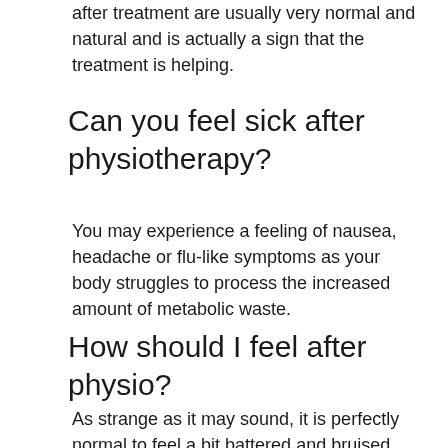after treatment are usually very normal and natural and is actually a sign that the treatment is helping.
Can you feel sick after physiotherapy?
You may experience a feeling of nausea, headache or flu-like symptoms as your body struggles to process the increased amount of metabolic waste.
How should I feel after physio?
As strange as it may sound, it is perfectly normal to feel a bit battered and bruised after a session with your osteopath or